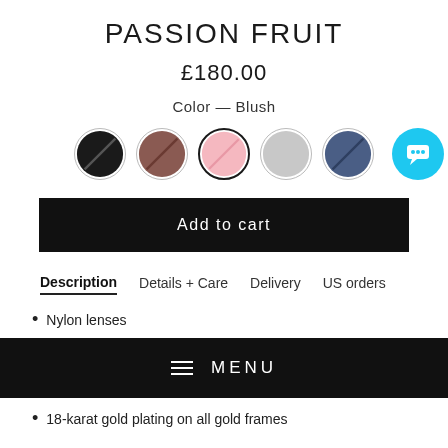PASSION FRUIT
£180.00
Color — Blush
[Figure (illustration): Five color swatches (circles): black, brown/mauve, pink (selected/highlighted), light grey, navy blue. A cyan chat bubble icon is to the right.]
Add to cart
Description   Details + Care   Delivery   US orders
Nylon lenses
[Figure (screenshot): Black navigation menu bar with hamburger lines icon and text MENU]
18-karat gold plating on all gold frames